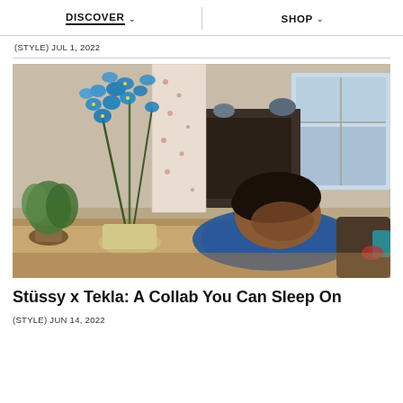DISCOVER ∨   SHOP ∨
(STYLE) JUL 1, 2022
[Figure (photo): Person sleeping with head resting on arms on a table, with blue orchid plant and green potted plants in foreground, patterned curtain in background, indoor home setting]
Stüssy x Tekla: A Collab You Can Sleep On
(STYLE) JUN 14, 2022